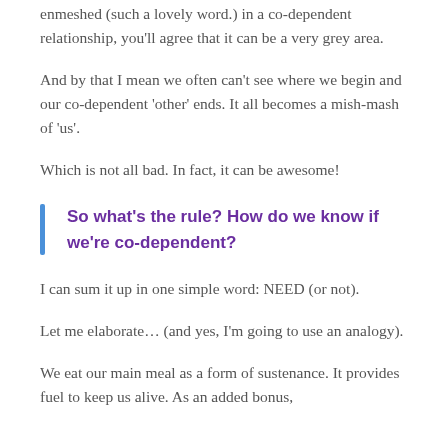enmeshed (such a lovely word.) in a co-dependent relationship, you'll agree that it can be a very grey area.
And by that I mean we often can't see where we begin and our co-dependent 'other' ends. It all becomes a mish-mash of 'us'.
Which is not all bad. In fact, it can be awesome!
So what's the rule? How do we know if we're co-dependent?
I can sum it up in one simple word: NEED (or not).
Let me elaborate… (and yes, I'm going to use an analogy).
We eat our main meal as a form of sustenance. It provides fuel to keep us alive. As an added bonus,